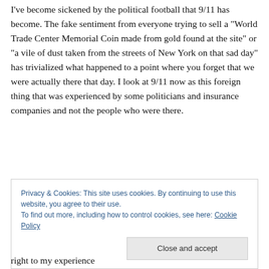I've become sickened by the political football that 9/11 has become. The fake sentiment from everyone trying to sell a “World Trade Center Memorial Coin made from gold found at the site” or “a vile of dust taken from the streets of New York on that sad day” has trivialized what happened to a point where you forget that we were actually there that day. I look at 9/11 now as this foreign thing that was experienced by some politicians and insurance companies and not the people who were there.
Privacy & Cookies: This site uses cookies. By continuing to use this website, you agree to their use.
To find out more, including how to control cookies, see here: Cookie Policy
Close and accept
right to my experience